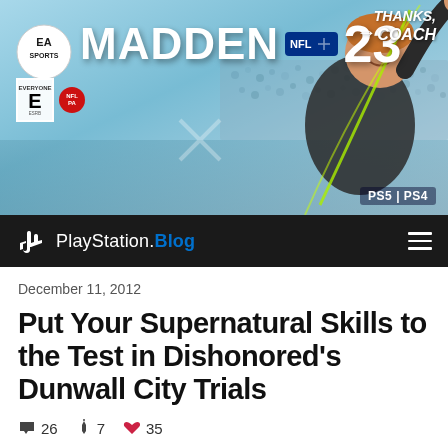[Figure (photo): Madden NFL 23 advertisement banner featuring EA Sports logo, Madden NFL 23 title text, ESRB rating E badge, NFLPA logo, a man in dark clothing celebrating with arm raised, 'THANKS, COACH' text, crowd in background, PS5|PS4 badge]
PlayStation.Blog
December 11, 2012
Put Your Supernatural Skills to the Test in Dishonored's Dunwall City Trials
26  7  35
[Figure (photo): Bottom strip showing a dark atmospheric cityscape scene from Dishonored game]